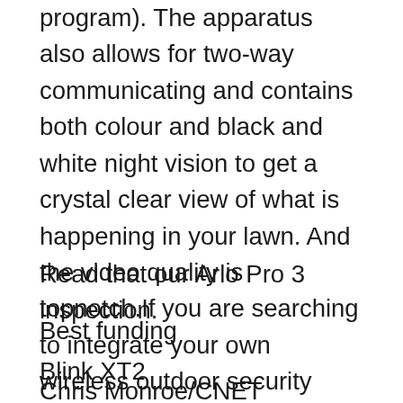program). The apparatus also allows for two-way communicating and contains both colour and black and white night vision to get a crystal clear view of what is happening in your lawn. And the video quality is topnotch.If you are searching to integrate your own wireless outdoor security camera in your existing smart house program, the Pro 3 functions with Alexa and Google Assistant.
Read that our Arlo Pro 3 inspection.
Best funding
Blink XT2
Chris Monroe/CNET